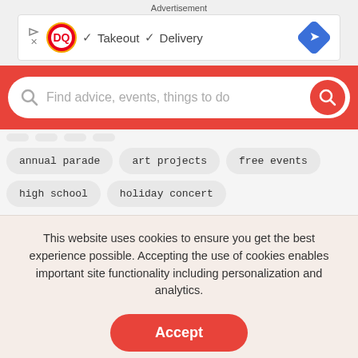Advertisement
[Figure (screenshot): Dairy Queen advertisement banner showing DQ logo with checkmarks for Takeout and Delivery, and a blue arrow direction icon on the right]
[Figure (screenshot): Red search bar with magnifying glass icon, placeholder text 'Find advice, events, things to do', and a red circular search button on the right]
annual parade
art projects
free events
high school
holiday concert
This website uses cookies to ensure you get the best experience possible. Accepting the use of cookies enables important site functionality including personalization and analytics.
Accept
Decline